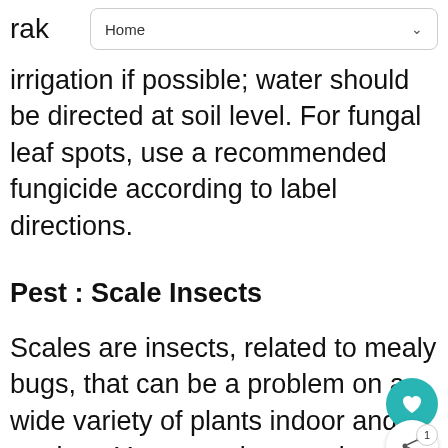rak
Home
irrigation if possible; water should be directed at soil level. For fungal leaf spots, use a recommended fungicide according to label directions.
Pest : Scale Insects
Scales are insects, related to mealy bugs, that can be a problem on a wide variety of plants indoor and outdoor. Young scales crawl until they find a good feeding site. The adult females then lose their legs and remain on a spot protected by its hard shell layer. They